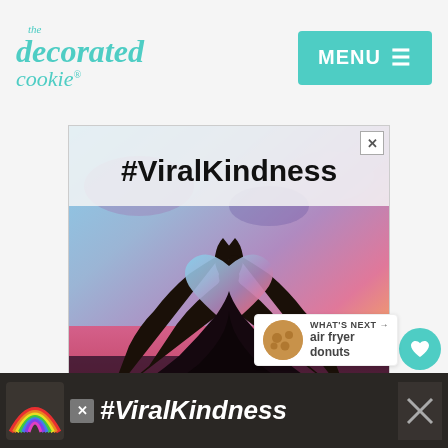[Figure (logo): The Decorated Cookie logo in teal/turquoise script font]
[Figure (screenshot): Menu button in teal with hamburger icon]
[Figure (photo): Advertisement image showing #ViralKindness text over a sunset photo with two hands forming a heart shape silhouette]
2.4K
WHAT'S NEXT → air fryer donuts
[Figure (photo): Bottom banner advertisement showing rainbow illustration and #ViralKindness text on dark background]